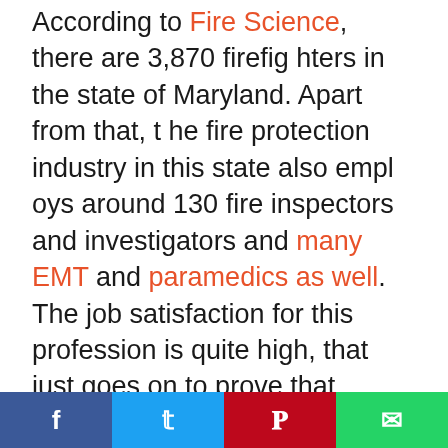According to Fire Science, there are 3,870 firefighters in the state of Maryland. Apart from that, the fire protection industry in this state also employs around 130 fire inspectors and investigators and many EMT and paramedics as well. The job satisfaction for this profession is quite high, that just goes on to prove that people in this field really enjoy doing what they are doing, even though the pay scale for fire professionals in Maryland is 19% less than the national average.
It is not easy to become a firefighter; there aren't enough jobs, so the job market is quite comp